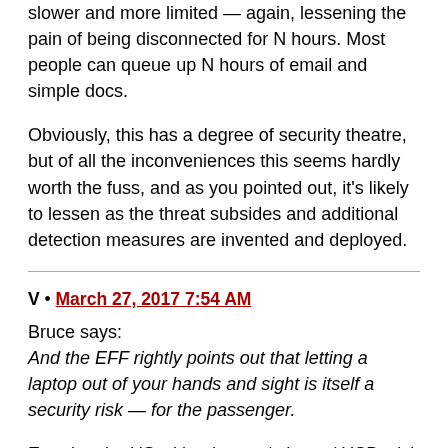slower and more limited — again, lessening the pain of being disconnected for N hours. Most people can queue up N hours of email and simple docs.
Obviously, this has a degree of security theatre, but of all the inconveniences this seems hardly worth the fuss, and as you pointed out, it's likely to lessen as the threat subsides and additional detection measures are invented and deployed.
V • March 27, 2017 7:54 AM
Bruce says:
And the EFF rightly points out that letting a laptop out of your hands and sight is itself a security risk — for the passenger.
Entering the US with a laptop / phone / USB stick is a security risk
Pete • March 27, 2017 8:04 AM
There are so many ways around all these extra checks for a determined engineer. We all know this. Making a bomb hiding laptop, something that looks like a laptop on an x-ray,